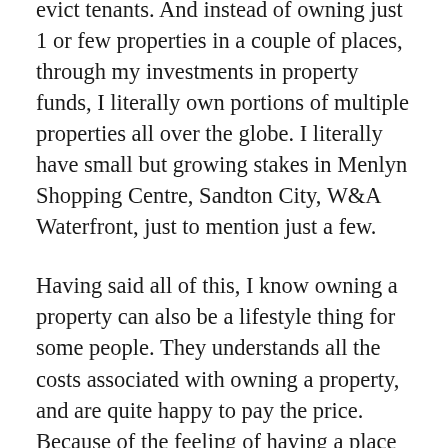evict tenants. And instead of owning just 1 or few properties in a couple of places, through my investments in property funds, I literally own portions of multiple properties all over the globe. I literally have small but growing stakes in Menlyn Shopping Centre, Sandton City, W&A Waterfront, just to mention just a few.
Having said all of this, I know owning a property can also be a lifestyle thing for some people. They understands all the costs associated with owning a property, and are quite happy to pay the price. Because of the feeling of having a place you call ‘home’. They want to tend their garden, and mow the lawn, and hang their family pictures on the wall with nails, slaughter a goat to appease the ancestors. That feeling is priceless. If you fall into